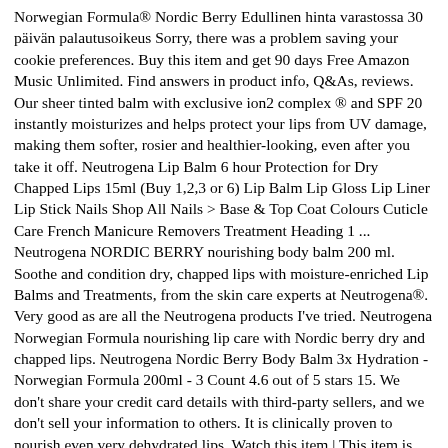Norwegian Formula® Nordic Berry Edullinen hinta varastossa 30 päivän palautusoikeus Sorry, there was a problem saving your cookie preferences. Buy this item and get 90 days Free Amazon Music Unlimited. Find answers in product info, Q&As, reviews. Our sheer tinted balm with exclusive ion2 complex ® and SPF 20 instantly moisturizes and helps protect your lips from UV damage, making them softer, rosier and healthier-looking, even after you take it off. Neutrogena Lip Balm 6 hour Protection for Dry Chapped Lips 15ml (Buy 1,2,3 or 6) Lip Balm Lip Gloss Lip Liner Lip Stick Nails Shop All Nails > Base & Top Coat Colours Cuticle Care French Manicure Removers Treatment Heading 1 ... Neutrogena NORDIC BERRY nourishing body balm 200 ml. Soothe and condition dry, chapped lips with moisture-enriched Lip Balms and Treatments, from the skin care experts at Neutrogena®. Very good as are all the Neutrogena products I've tried. Neutrogena Norwegian Formula nourishing lip care with Nordic berry dry and chapped lips. Neutrogena Nordic Berry Body Balm 3x Hydration - Norwegian Formula 200ml - 3 Count 4.6 out of 5 stars 15. We don't share your credit card details with third-party sellers, and we don't sell your information to others. It is clinically proven to nourish even very dehydrated lips. Watch this item | This item is out of stock. Instead, our system considers things like how recent a review is and if the reviewer bought the item on Amazon. It contains a unique combination of a Norwegian technology and Nordic fruits. It also analyses reviews to verify trustworthiness. Neutrogena Norwegian Formula Nourishing Lip Care with Nordic